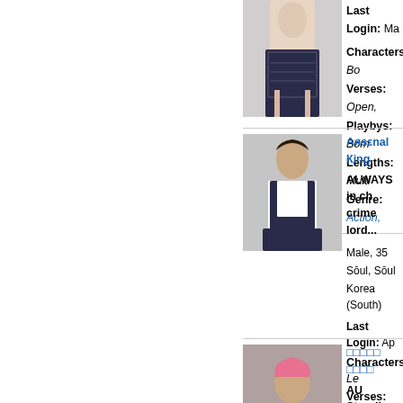[Figure (photo): Profile photo of a female person in a sparkly outfit (cropped, top portion cut off)]
Last Login: Ma...
Characters: Bo...
Verses: Open,...
Playbys: Bom...
Lengths: Multi...
Genre: Action,...
Aяsεnal Кing.
ALWAYS in ch... crime lord...
Male, 35
Sōul, Sōul
Korea (South)
Last Login: Ap...
Characters: Le...
Verses: AU, Ma...
Playbys: D.
Lengths: Multi...
Genre: Mafia,...
[Figure (photo): Profile photo of a young man in a dark vest over white shirt, seated pose]
□□□□□ □□□□
AU Storyline.
[Figure (photo): Profile photo of a person with pink hair]